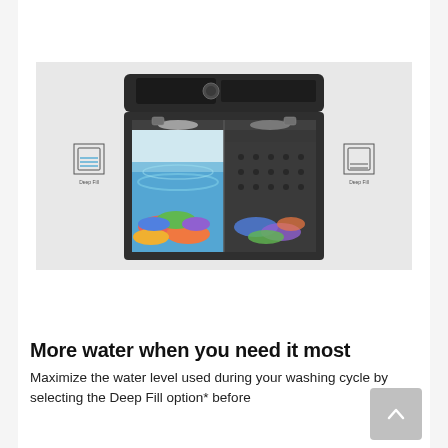[Figure (photo): Samsung top-load washing machine shown in a split cross-section view, with the left side showing the drum filled with water and colorful laundry (Deep Fill on setting), and the right side showing the drum without extra water (Deep Fill off). Icons labeled 'Deep Fill' are shown on each side. The washer has a black finish with a digital control panel on top.]
More water when you need it most
Maximize the water level used during your washing cycle by selecting the Deep Fill option* before